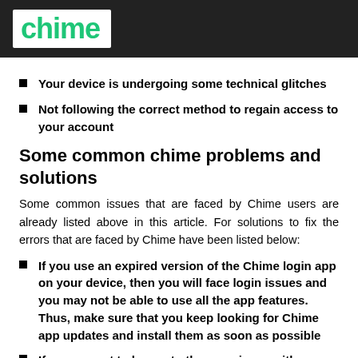[Figure (logo): Chime logo – white box with green 'chime' wordmark on dark header bar]
Your device is undergoing some technical glitches
Not following the correct method to regain access to your account
Some common chime problems and solutions
Some common issues that are faced by Chime users are already listed above in this article. For solutions to fix the errors that are faced by Chime have been listed below:
If you use an expired version of the Chime login app on your device, then you will face login issues and you may not be able to use all the app features. Thus, make sure that you keep looking for Chime app updates and install them as soon as possible
If you are not to log on to the experience with Chime, then